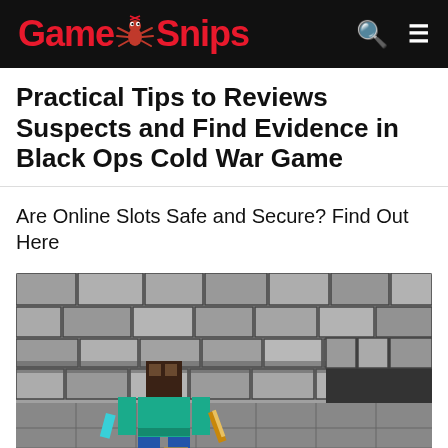GameSnips
Practical Tips to Reviews Suspects and Find Evidence in Black Ops Cold War Game
Are Online Slots Safe and Secure? Find Out Here
[Figure (screenshot): Minecraft-style 3D game screenshot showing a pixelated character in teal/cyan armor holding items, standing in a stone brick dungeon/fortress environment with block walls and a dark doorway]